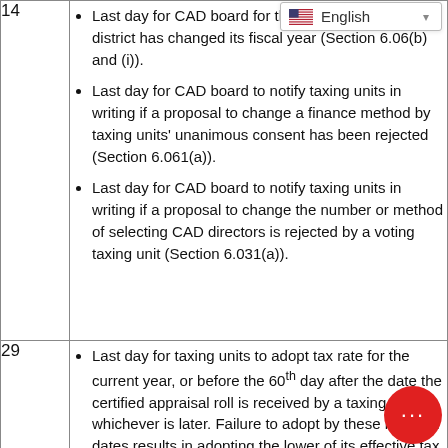| Day | Description |
| --- | --- |
| 14 | Last day for CAD board ... for the next year, unless a district has changed its fiscal year (Section 6.06(b) and (i)).
Last day for CAD board to notify taxing units in writing if a proposal to change a finance method by taxing units' unanimous consent has been rejected (Section 6.061(a)).
Last day for CAD board to notify taxing units in writing if a proposal to change the number or method of selecting CAD directors is rejected by a voting taxing unit (Section 6.031(a)). |
| 29 | Last day for taxing units to adopt tax rate for the current year, or before the 60th day after the date the certified appraisal roll is received by a taxing unit, whichever is later. Failure to adopt by these required dates results in adopting the lower of its effective tax rate this year or last year's tax rate; unit's governing body must ratify new rate within |